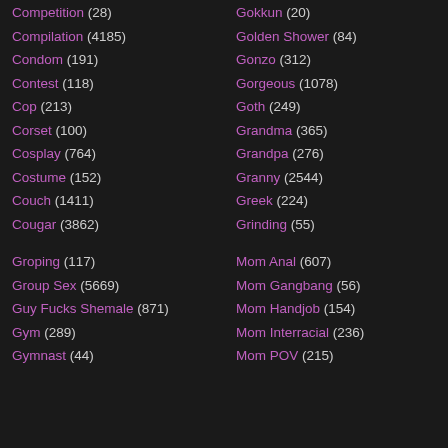Competition (28)
Compilation (4185)
Condom (191)
Contest (118)
Cop (213)
Corset (100)
Cosplay (764)
Costume (152)
Couch (1411)
Cougar (3862)
Groping (117)
Group Sex (5669)
Guy Fucks Shemale (871)
Gym (289)
Gymnast (44)
Gokkun (20)
Golden Shower (84)
Gonzo (312)
Gorgeous (1078)
Goth (249)
Grandma (365)
Grandpa (276)
Granny (2544)
Greek (224)
Grinding (55)
Mom Anal (607)
Mom Gangbang (56)
Mom Handjob (154)
Mom Interracial (236)
Mom POV (215)